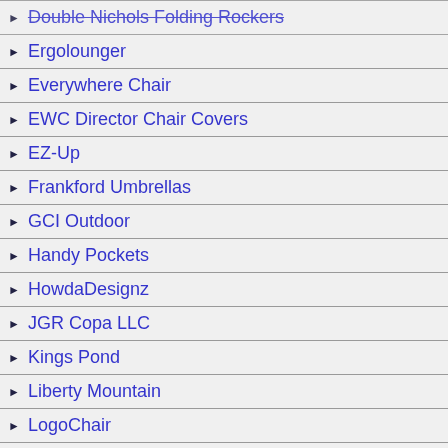Double Nichols Folding Rockers
Ergolounger
Everywhere Chair
EWC Director Chair Covers
EZ-Up
Frankford Umbrellas
GCI Outdoor
Handy Pockets
HowdaDesignz
JGR Copa LLC
Kings Pond
Liberty Mountain
LogoChair
Lounge Lizard
Pacific Imports